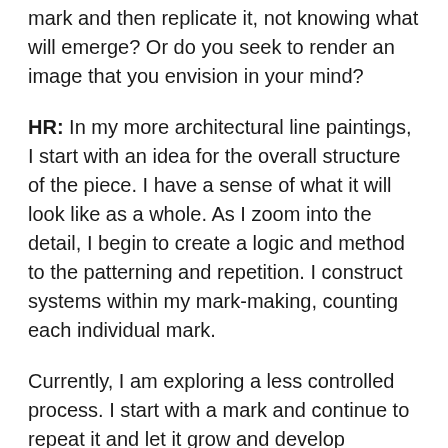mark and then replicate it, not knowing what will emerge? Or do you seek to render an image that you envision in your mind?
HR: In my more architectural line paintings, I start with an idea for the overall structure of the piece. I have a sense of what it will look like as a whole. As I zoom into the detail, I begin to create a logic and method to the patterning and repetition. I construct systems within my mark-making, counting each individual mark.
Currently, I am exploring a less controlled process. I start with a mark and continue to repeat it and let it grow and develop connections organically. I continue to create layers upon layers, allowing the nets to overlap and intertwine. This newer way of mark-making grew out of a lot of experimentation and failure. I allowed myself to let go of the rigid control. This was really